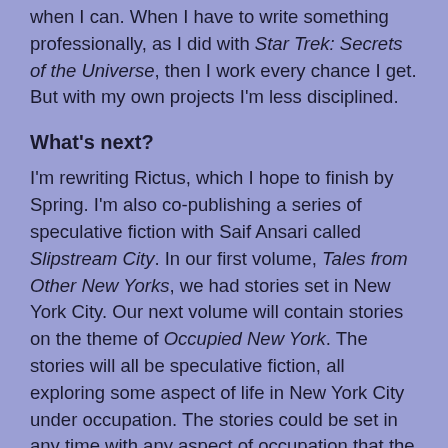when I can. When I have to write something professionally, as I did with Star Trek: Secrets of the Universe, then I work every chance I get. But with my own projects I'm less disciplined.
What's next?
I'm rewriting Rictus, which I hope to finish by Spring. I'm also co-publishing a series of speculative fiction with Saif Ansari called Slipstream City. In our first volume, Tales from Other New Yorks, we had stories set in New York City. Our next volume will contain stories on the theme of Occupied New York. The stories will all be speculative fiction, all exploring some aspect of life in New York City under occupation. The stories could be set in any time with any aspect of occupation that the author wants to explore. I'll have a piece in there about New York City under alien occupation, with mind-probing checkpoints and the measures that